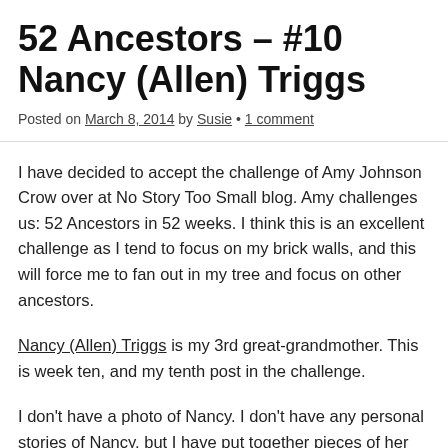52 Ancestors – #10 Nancy (Allen) Triggs
Posted on March 8, 2014 by Susie • 1 comment
I have decided to accept the challenge of Amy Johnson Crow over at No Story Too Small blog. Amy challenges us: 52 Ancestors in 52 weeks. I think this is an excellent challenge as I tend to focus on my brick walls, and this will force me to fan out in my tree and focus on other ancestors.
Nancy (Allen) Triggs is my 3rd great-grandmother. This is week ten, and my tenth post in the challenge.
I don't have a photo of Nancy.  I don't have any personal stories of Nancy, but I have put together pieces of her life from documents left, and knowing the history for the time period, I have a pretty good idea of what her life must have been like.